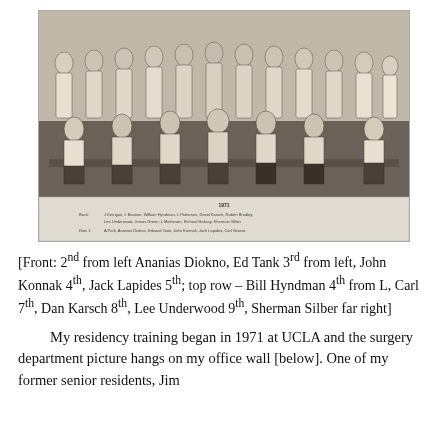[Figure (photo): Black and white group photo of medical residents and faculty in white coats, two rows, approximately 18 people, with a caption label below the photo identifying year 1971 and individuals by position.]
[Front: 2nd from left Ananias Diokno, Ed Tank 3rd from left, John Konnak 4th, Jack Lapides 5th; top row – Bill Hyndman 4th from L, Carl 7th, Dan Karsch 8th, Lee Underwood 9th, Sherman Silber far right]
My residency training began in 1971 at UCLA and the surgery department picture hangs on my office wall [below]. One of my former senior residents, Jim